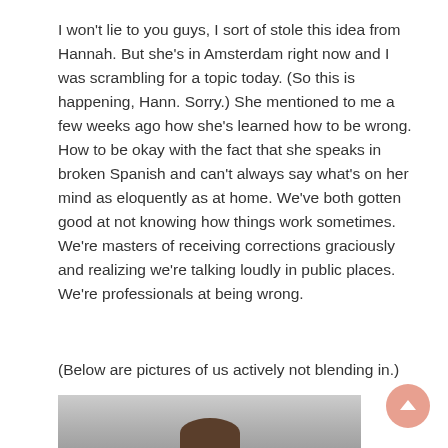I won't lie to you guys, I sort of stole this idea from Hannah. But she's in Amsterdam right now and I was scrambling for a topic today. (So this is happening, Hann. Sorry.) She mentioned to me a few weeks ago how she's learned how to be wrong. How to be okay with the fact that she speaks in broken Spanish and can't always say what's on her mind as eloquently as at home. We've both gotten good at not knowing how things work sometimes. We're masters of receiving corrections graciously and realizing we're talking loudly in public places. We're professionals at being wrong.
(Below are pictures of us actively not blending in.)
[Figure (photo): Partial view of a person's head/hair visible at the bottom of the image frame, against a light grey background.]